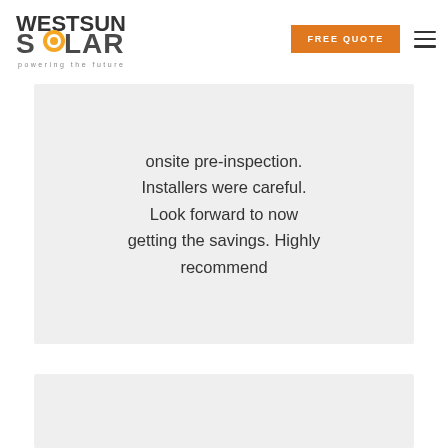[Figure (logo): WestSun Solar logo with text 'powering the future']
FREE QUOTE
onsite pre-inspection. Installers were careful. Look forward to now getting the savings. Highly recommend